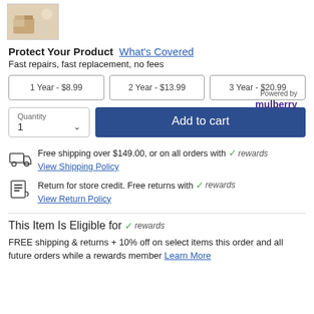[Figure (photo): Small product thumbnail image showing a room/furniture scene]
Protect Your Product What's Covered
Fast repairs, fast replacement, no fees
Powered by mulberry
1 Year - $8.99
2 Year - $13.99
3 Year - $20.99
Quantity 1  Add to cart
Free shipping over $149.00, or on all orders with rewards
View Shipping Policy
Return for store credit. Free returns with rewards
View Return Policy
This Item Is Eligible for rewards
FREE shipping & returns + 10% off on select items this order and all future orders while a rewards member Learn More